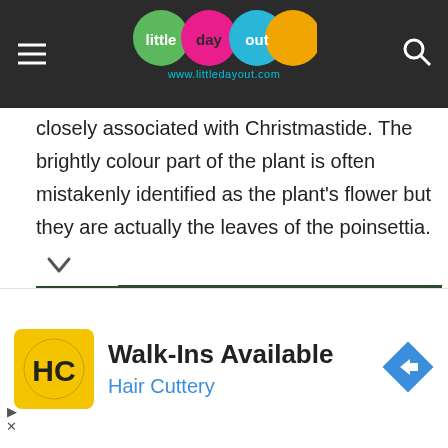little day out — www.littledayout.com
closely associated with Christmastide. The brightly colour part of the plant is often mistakenly identified as the plant's flower but they are actually the leaves of the poinsettia.
[Figure (photo): Close-up photograph of white poinsettia flowers mixed with red kalanchoe flowers and dark green leaves.]
Walk-Ins Available
Hair Cuttery